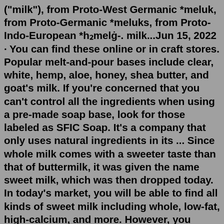("milk"), from Proto-West Germanic *meluk, from Proto-Germanic *meluks, from Proto-Indo-European *h2melǵ-. milk...Jun 15, 2022 · You can find these online or in craft stores. Popular melt-and-pour bases include clear, white, hemp, aloe, honey, shea butter, and goat's milk. If you're concerned that you can't control all the ingredients when using a pre-made soap base, look for those labeled as SFIC Soap. It's a company that only uses natural ingredients in its ... Since whole milk comes with a sweeter taste than that of buttermilk, it was given the name sweet milk, which was then dropped today. In today's market, you will be able to find all kinds of sweet milk including whole, low-fat, high-calcium, and more. However, you won't find it in a carton or packaging...The ONLY way to get milk from a goat is to get a female doe pregnant so she can have babies first. Each time a goat has babies, this kick starts her milk production and I tried a couple different breeds' milk and there were some that had that all too familiar musky/goaty flavor. Yup, not gonna drink